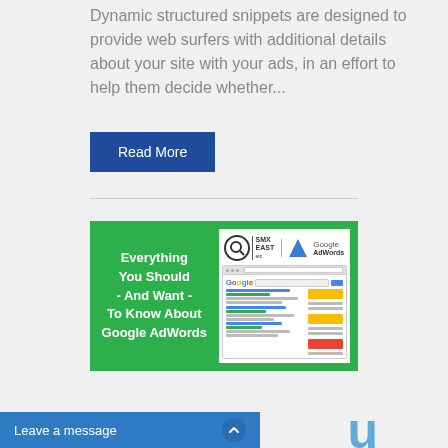Dynamic structured snippets are designed to provide web surfers with additional details about your site with your ads, in an effort to help them decide whether...
Read More
[Figure (illustration): Promotional banner for 'Everything You Should - And Want - To Know About Google AdWords', with green background on left, white panel on right showing SMX East and Google AdWords logos above a mock browser screenshot of Google search results page.]
Leave a message